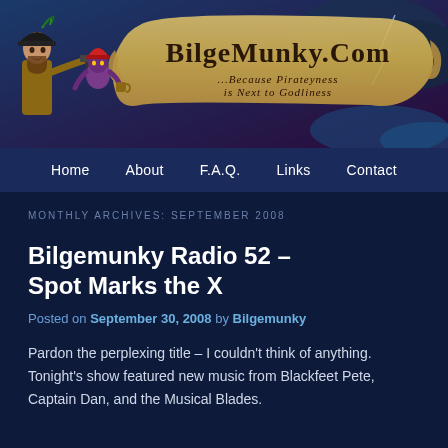[Figure (illustration): BilgeMunky.com website header banner with pirate illustration and decorative scroll text reading 'BilgeMunky.Com ...Because Pirateyness is Next to Godliness']
Home  About  F.A.Q.  Links  Contact
MONTHLY ARCHIVES: SEPTEMBER 2008
Bilgemunky Radio 52 – Spot Marks the X
Posted on September 30, 2008 by Bilgemunky
Pardon the perplexing title – I couldn't think of anything. Tonight's show featured new music from Blackfeet Pete, Captain Dan, and the Musical Blades.